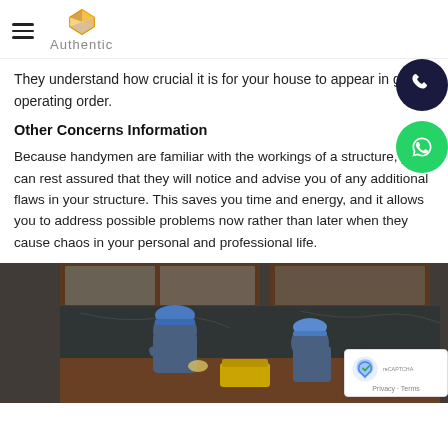Authentic
They understand how crucial it is for your house to appear in great operating order.
Other Concerns Information
Because handymen are familiar with the workings of a structure, you can rest assured that they will notice and advise you of any additional flaws in your structure. This saves you time and energy, and it allows you to address possible problems now rather than later when they cause chaos in your personal and professional life.
[Figure (photo): Two workers in blue hard hats working on kitchen cabinetry installation against a dark marble backsplash]